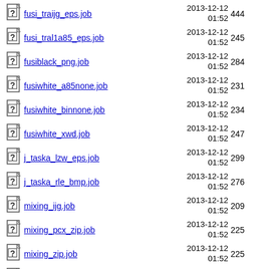fusi_traijg_eps.job  2013-12-12 01:52  444
fusi_tral1a85_eps.job  2013-12-12 01:52  245
fusiblack_png.job  2013-12-12 01:52  284
fusiwhite_a85none.job  2013-12-12 01:52  231
fusiwhite_binnone.job  2013-12-12 01:52  234
fusiwhite_xwd.job  2013-12-12 01:52  247
j_taska_lzw_eps.job  2013-12-12 01:52  299
j_taska_rle_bmp.job  2013-12-12 01:52  276
mixing_ijg.job  2013-12-12 01:52  209
mixing_pcx_zip.job  2013-12-12 01:52  225
mixing_zip.job  2013-12-12 01:52  225
2013-12-12 (partial)